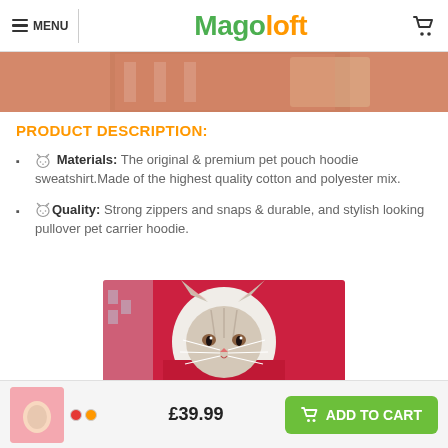≡ MENU  Magoloft  🛒
[Figure (photo): Top portion of product photo showing pink/salmon colored background with partial product image]
PRODUCT DESCRIPTION:
🐱 Materials: The original & premium pet pouch hoodie sweatshirt.Made of the highest quality cotton and polyester mix.
🐱 Quality: Strong zippers and snaps & durable, and stylish looking pullover pet carrier hoodie.
[Figure (photo): Photo of a grey tabby cat wearing a red pet carrier hoodie, cat face visible in the pouch opening]
£39.99
ADD TO CART